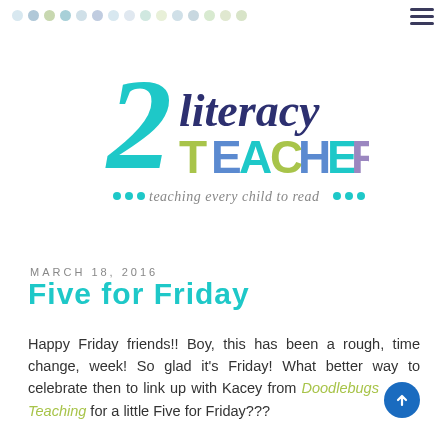2 Literacy Teachers · teaching every child to read
MARCH 18, 2016
Five for Friday
Happy Friday friends!! Boy, this has been a rough, time change, week! So glad it's Friday! What better way to celebrate then to link up with Kacey from Doodlebugs Teaching for a little Five for Friday???